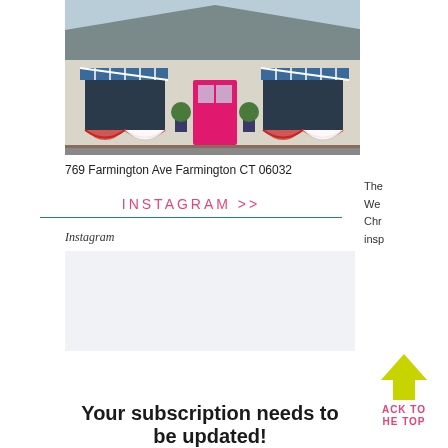[Figure (photo): Exterior photo of a retail shop with white clapboard siding, blue striped awnings, a bright pink front door, decorative topiary plants, and patriotic bunting decorations at 769 Farmington Ave Farmington CT 06032]
769 Farmington Ave Farmington CT 06032
INSTAGRAM >>
Instagram
[Figure (screenshot): Instagram embed placeholder box with light gray background]
Your subscription needs to be updated!
The
We
Chr
insp
ACK TO
HE TOP